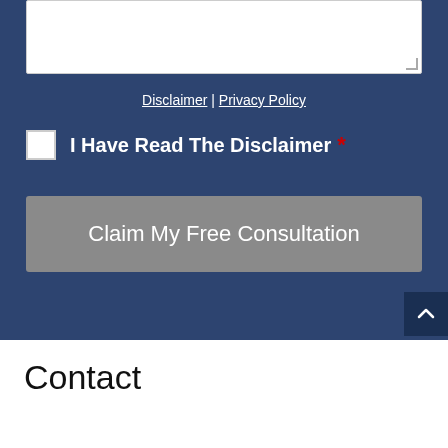[Figure (other): Text area input stub (top portion visible)]
Disclaimer | Privacy Policy
I Have Read The Disclaimer *
Claim My Free Consultation
Contact